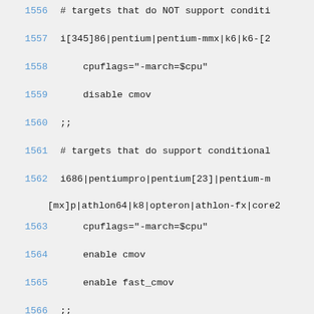1556    # targets that do NOT support conditi
1557    i[345]86|pentium|pentium-mmx|k6|k6-[2
1558        cpuflags="-march=$cpu"
1559        disable cmov
1560    ;;
1561    # targets that do support conditional
1562    i686|pentiumpro|pentium[23]|pentium-m
[mx]p|athlon64|k8|opteron|athlon-fx|core2
1563        cpuflags="-march=$cpu"
1564        enable cmov
1565        enable fast_cmov
1566    ;;
1567    # targets that do support conditional
1568    pentium4|pentium4m|prescott|nocona)
1569        cpuflags="-march=$cpu"
1570        enable cmov